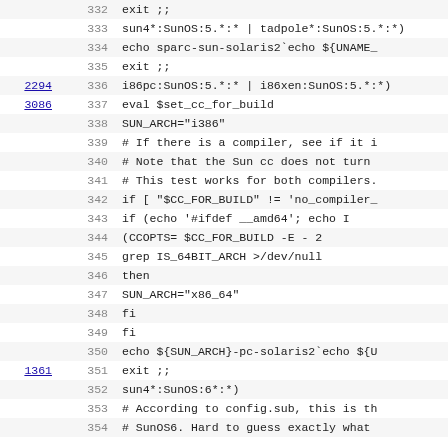Source code viewer showing shell script lines 332-354 with line references and code content including SunOS/Solaris architecture detection logic